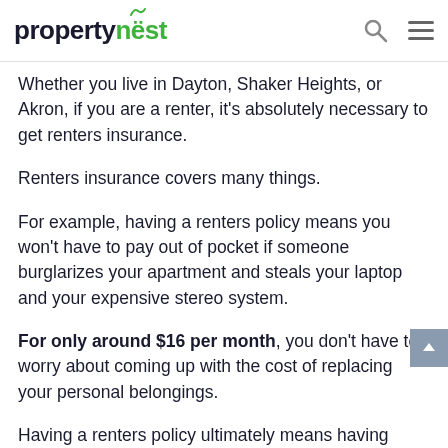propertynest
Whether you live in Dayton, Shaker Heights, or Akron, if you are a renter, it's absolutely necessary to get renters insurance.
Renters insurance covers many things.
For example, having a renters policy means you won't have to pay out of pocket if someone burglarizes your apartment and steals your laptop and your expensive stereo system.
For only around $16 per month, you don't have to worry about coming up with the cost of replacing your personal belongings.
Having a renters policy ultimately means having peace of